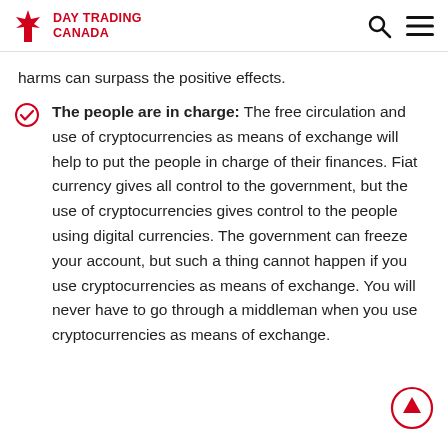DAY TRADING CANADA
harms can surpass the positive effects.
The people are in charge: The free circulation and use of cryptocurrencies as means of exchange will help to put the people in charge of their finances. Fiat currency gives all control to the government, but the use of cryptocurrencies gives control to the people using digital currencies. The government can freeze your account, but such a thing cannot happen if you use cryptocurrencies as means of exchange. You will never have to go through a middleman when you use cryptocurrencies as means of exchange.